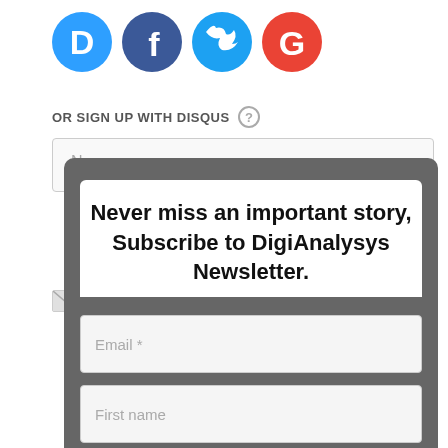[Figure (illustration): Social login icons for Disqus (blue circle with D), Facebook (dark blue circle with f), Twitter (light blue circle with bird), and Google (red circle with G)]
OR SIGN UP WITH DISQUS ?
[Figure (screenshot): Newsletter subscription modal with title 'Never miss an important story, Subscribe to DigiAnalysys Newsletter.' and form fields for Email, First name, Last name, and a green Subscribe button. A close (x) button is at the bottom right.]